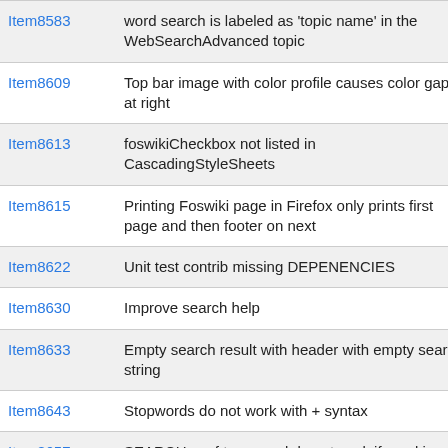| Item8583 | word search is labeled as 'topic name' in the WebSearchAdvanced topic |
| Item8609 | Top bar image with color profile causes color gap at right |
| Item8613 | foswikiCheckbox not listed in CascadingStyleSheets |
| Item8615 | Printing Foswiki page in Firefox only prints first page and then footer on next |
| Item8622 | Unit test contrib missing DEPENENCIES |
| Item8630 | Improve search help |
| Item8633 | Empty search result with header with empty search string |
| Item8643 | Stopwords do not work with + syntax |
| Item8657 | SEARCHes of type word do not work if word is non-English and the wiki is setup for UTF8 |
| Item8685 | Table sorting incorrect for numbers with decimal places |